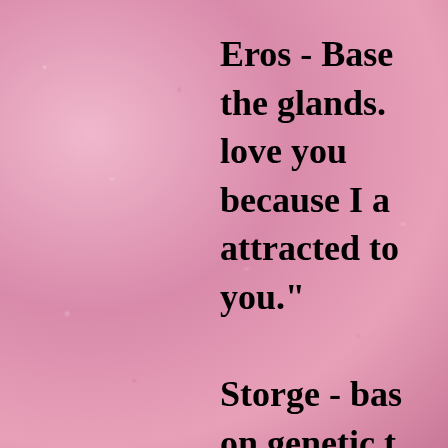Eros - Base... the glands. love you because I a... attracted to... you." Storge - bas... on genetic t...